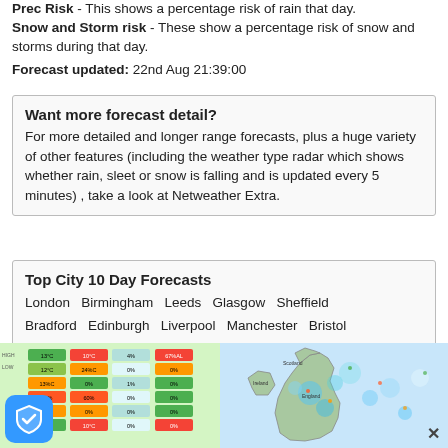Prec Risk - This shows a percentage risk of rain that day. Snow and Storm risk - These show a percentage risk of snow and storms during that day.
Forecast updated: 22nd Aug 21:39:00
Want more forecast detail? For more detailed and longer range forecasts, plus a huge variety of other features (including the weather type radar which shows whether rain, sleet or snow is falling and is updated every 5 minutes) , take a look at Netweather Extra.
Top City 10 Day Forecasts London Birmingham Leeds Glasgow Sheffield Bradford Edinburgh Liverpool Manchester Bristol Wakefield Cardiff Coventry Nottingham Leicester
[Figure (screenshot): Weather forecast table with colored temperature and precipitation cells]
[Figure (map): UK weather radar map showing rain and cloud coverage]